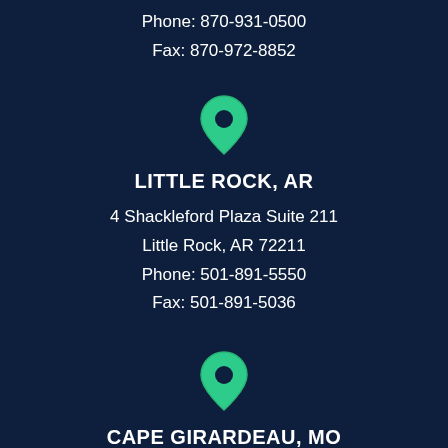Phone: 870-931-0500
Fax: 870-972-8852
[Figure (illustration): Green map pin / location marker icon]
LITTLE ROCK, AR
4 Shackleford Plaza Suite 211
Little Rock, AR 72211
Phone: 501-891-5550
Fax: 501-891-5036
[Figure (illustration): Green map pin / location marker icon]
CAPE GIRARDEAU, MO
1440 Kurre Lane
Cape Girardeau, MO 63701